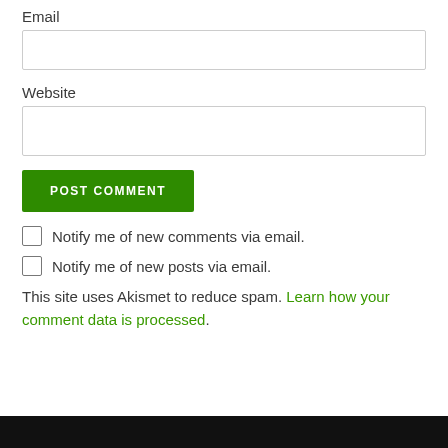Email
Website
POST COMMENT
Notify me of new comments via email.
Notify me of new posts via email.
This site uses Akismet to reduce spam. Learn how your comment data is processed.